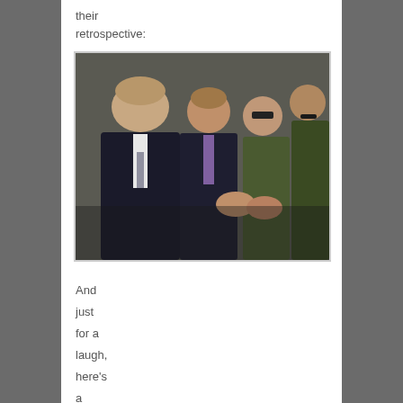their retrospective:
[Figure (photo): Black and white/color photograph of several men in suits shaking hands with men in military uniforms.]
And just for a laugh, here's a parody